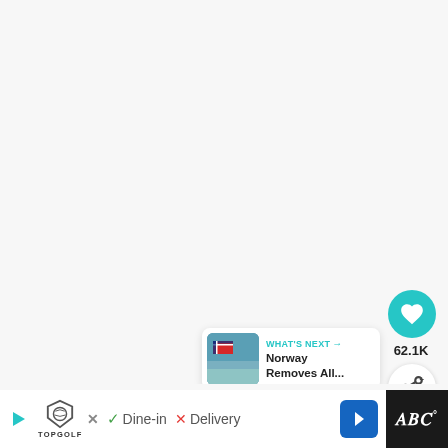[Figure (screenshot): White/light gray content area, blank upper portion of a webpage]
[Figure (infographic): Teal circular like button with heart icon showing 62.1K likes, and a white circular share button with share icon]
[Figure (infographic): What's Next card showing Norway Removes All... with a small image of a Norwegian flag on a mountain]
While the Vuela Seguro official website is still active for now, airports are no longer requiring con
[Figure (infographic): Bottom ad bar: Topgolf logo with play icon, Dine-in and Delivery options with checkmark/X, blue arrow navigation button, dark right panel with WWF-style logo]